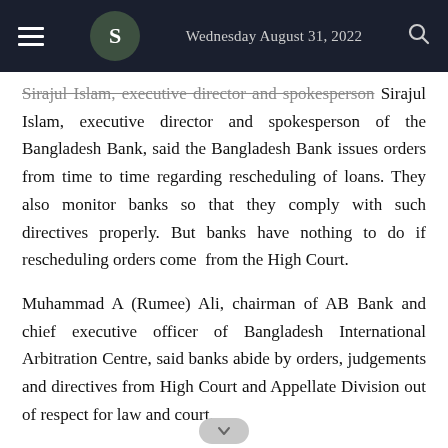Wednesday August 31, 2022
Sirajul Islam, executive director and spokesperson of the Bangladesh Bank, said the Bangladesh Bank issues orders from time to time regarding rescheduling of loans. They also monitor banks so that they comply with such directives properly. But banks have nothing to do if rescheduling orders come from the High Court.
Muhammad A (Rumee) Ali, chairman of AB Bank and chief executive officer of Bangladesh International Arbitration Centre, said banks abide by orders, judgements and directives from High Court and Appellate Division out of respect for law and court.